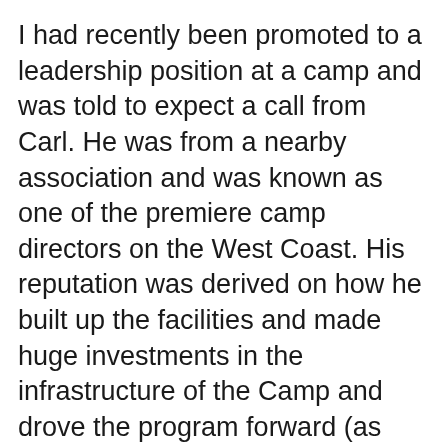I had recently been promoted to a leadership position at a camp and was told to expect a call from Carl. He was from a nearby association and was known as one of the premiere camp directors on the West Coast. His reputation was derived on how he built up the facilities and made huge investments in the infrastructure of the Camp and drove the program forward (as well as enrollment).
Camp Fox was a destination. Situated on Catalina Island, (cue song, “26 miles across the sea, Santa Catalina…”) it was a great place to spend a summer or even just a week during one of their sessions. Water features and traditional programming for a YMCA Camp.